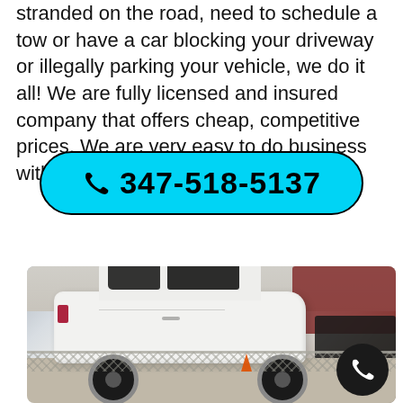stranded on the road, need to schedule a tow or have a car blocking your driveway or illegally parking your vehicle, we do it all! We are fully licensed and insured company that offers cheap, competitive prices. We are very easy to do business with!
[Figure (infographic): Cyan/turquoise rounded button with phone icon and phone number 347-518-5137 in bold black text on cyan background with black border]
[Figure (photo): Outdoor photo of a white Mercedes-Benz SUV parked in a lot, with a chain-link fence in the foreground and other vehicles visible in the background. A black circular call button appears in the bottom-right corner.]